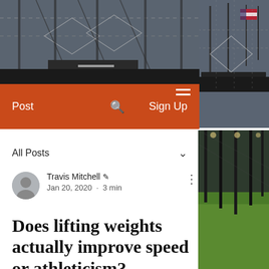[Figure (photo): Gym/training facility interior with equipment, cables, and turf area visible]
Post   🔍   Sign Up
All Posts
Travis Mitchell ✏ Jan 20, 2020 · 3 min
Does lifting weights actually improve speed or athleticism?
If you pay attention to what our athletes do in the Factory, you already know our